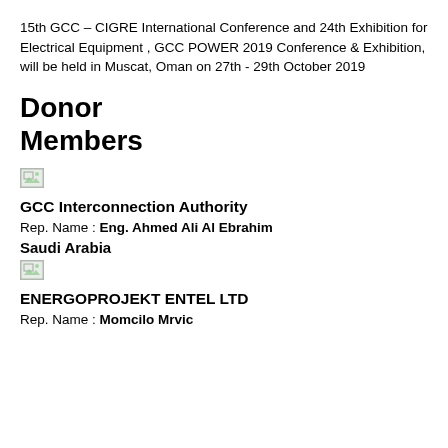15th GCC – CIGRE International Conference and 24th Exhibition for Electrical Equipment , GCC POWER 2019 Conference & Exhibition, will be held in Muscat, Oman on 27th - 29th October 2019
Donor Members
[Figure (other): Broken/missing image placeholder]
GCC Interconnection Authority
Rep. Name : Eng. Ahmed Ali Al Ebrahim
Saudi Arabia
[Figure (other): Broken/missing image placeholder]
ENERGOPROJEKT ENTEL LTD
Rep. Name : Momcilo Mrvic